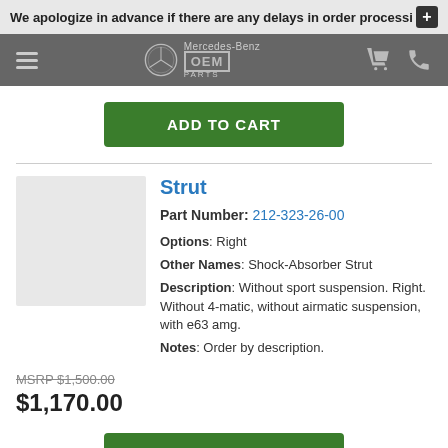We apologize in advance if there are any delays in order processi
[Figure (logo): Mercedes-Benz OEM Parts logo in navigation bar]
ADD TO CART
Strut
Part Number: 212-323-26-00
Options: Right
Other Names: Shock-Absorber Strut
Description: Without sport suspension. Right. Without 4-matic, without airmatic suspension, with e63 amg.
Notes: Order by description.
MSRP $1,500.00
$1,170.00
ADD TO CART